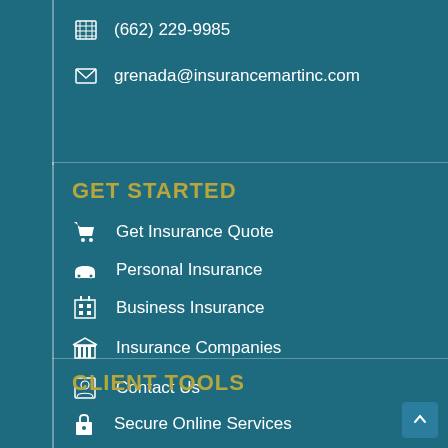(662) 229-9985
grenada@insurancemartinc.com
GET STARTED
Get Insurance Quote
Personal Insurance
Business Insurance
Insurance Companies
Contact Us
CLIENT TOOLS
Secure Online Services
Refer A Friend